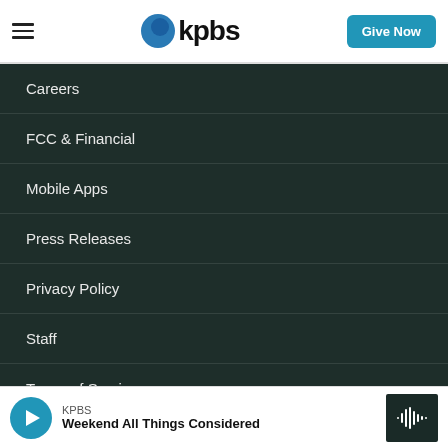KPBS — Give Now
Careers
FCC & Financial
Mobile Apps
Press Releases
Privacy Policy
Staff
Terms of Service
Help
Audience and Member Services
KPBS — Weekend All Things Considered